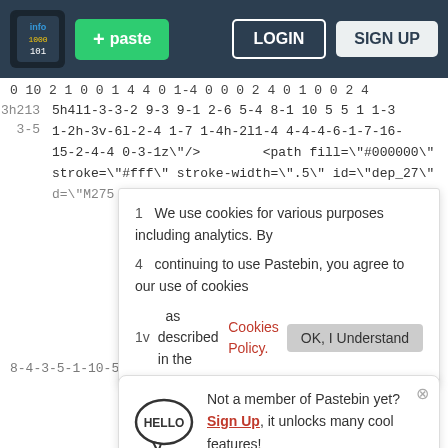Pastebin navigation bar with logo, paste button, login and sign up
0 10 2 1 0 0 1 4 4 0 1-4 0 0 0 2 4 0 1 0 0 2 4
3h213 5h4l1-3-3-2 9-3 9-1 2-6 5-4 8-1 10 5 5 1 1-3
3-5 1-2h-3v-6l-2-4 1-7 1-4h-2l1-4 4-4-4-6-1-7-16-
15-2-4-4 0-3-1z\"/> <path fill=\"#000000\"
stroke=\"#fff\" stroke-width=\".5\" id=\"dep_27\"
d=\"M275 1671 2 1 4 4 0 1 1 14 4 1v41 4 2 5 7 2 0
We use cookies for various purposes including analytics. By continuing to use Pastebin, you agree to our use of cookies as described in the Cookies Policy.
Not a member of Pastebin yet?
Sign Up, it unlocks many cool features!
8-4-3-5-1-10-5-8 1-5 3-2 7-9 1-9 3 3 2-1 3h-41-3-
5h
fi
wi
3-4-3 2 8h-4l-7-5-4 7 2 2v2l-4 5 1 8-6 7-4 14 2 6
6 2v4l9 2v7l0 5h10l10-3-1-4 3-1 3 4 2 1 3 8 6 7 1
5 5 6 3-1 4-3 3-15 2-5 1-7 6-2 4 1 2 2 3-4 3-3v-
313 0 1-3-3-4 1-2-2-2-6-8h-7l-2-3v-12l-3-8 0-9-4-